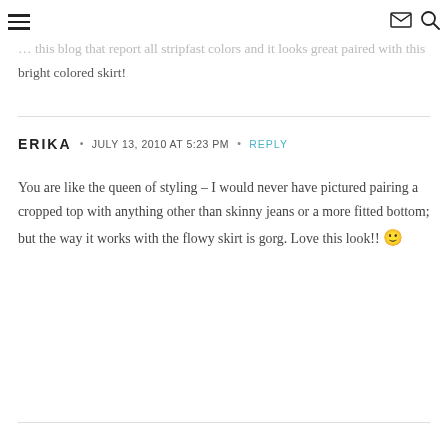[hamburger menu] [mail icon] [search icon]
… this blog that report all stripfast colors and it looks great paired with this bright colored skirt!
ERIKA · JULY 13, 2010 AT 5:23 PM · REPLY
You are like the queen of styling – I would never have pictured pairing a cropped top with anything other than skinny jeans or a more fitted bottom; but the way it works with the flowy skirt is gorg. Love this look!! 🙂